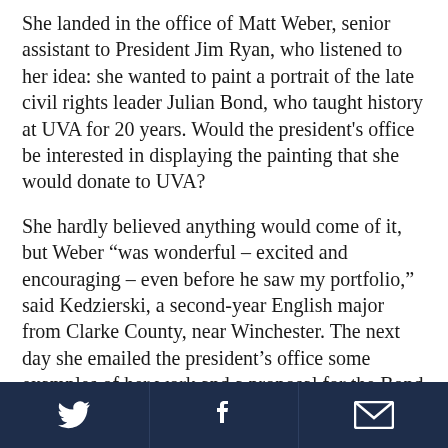She landed in the office of Matt Weber, senior assistant to President Jim Ryan, who listened to her idea: she wanted to paint a portrait of the late civil rights leader Julian Bond, who taught history at UVA for 20 years. Would the president's office be interested in displaying the painting that she would donate to UVA?
She hardly believed anything would come of it, but Weber “was wonderful – excited and encouraging – even before he saw my portfolio,” said Kedzierski, a second-year English major from Clarke County, near Winchester. The next day she emailed the president’s office some examples of her work and a proposal for the Bond project.
Twitter | Facebook | Email